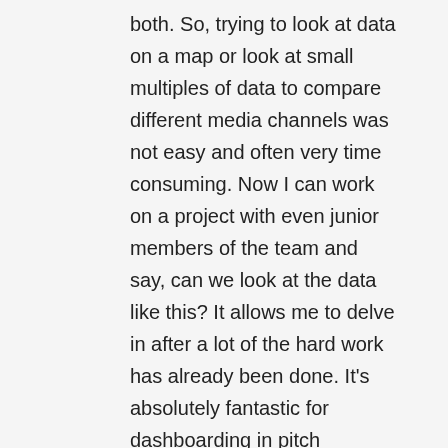both. So, trying to look at data on a map or look at small multiples of data to compare different media channels was not easy and often very time consuming. Now I can work on a project with even junior members of the team and say, can we look at the data like this? It allows me to delve in after a lot of the hard work has already been done. It's absolutely fantastic for dashboarding in pitch situations. Within two weeks of our trial version, we were using it in a live pitch. At the time, we made it work on an iPad. It was slightly clunky compared to know, but it was still a step beyond whatever else was out there.